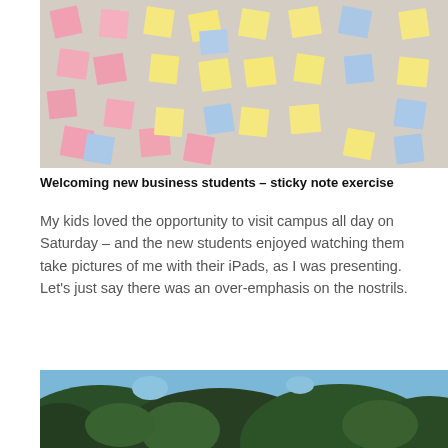[Figure (photo): Colorful sticky notes (pink, yellow, blue) scattered across a light beige wall surface, photographed from below.]
Welcoming new business students – sticky note exercise
My kids loved the opportunity to visit campus all day on Saturday – and the new students enjoyed watching them take pictures of me with their iPads, as I was presenting. Let's just say there was an over-emphasis on the nostrils.
[Figure (photo): Outdoor photo looking up at large dark green trees against a blue sky.]